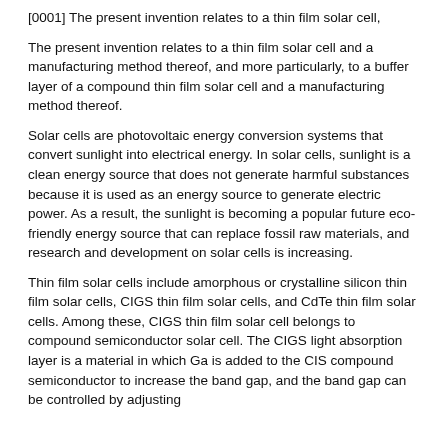[0001] The present invention relates to a thin film solar cell,
The present invention relates to a thin film solar cell and a manufacturing method thereof, and more particularly, to a buffer layer of a compound thin film solar cell and a manufacturing method thereof.
Solar cells are photovoltaic energy conversion systems that convert sunlight into electrical energy. In solar cells, sunlight is a clean energy source that does not generate harmful substances because it is used as an energy source to generate electric power. As a result, the sunlight is becoming a popular future eco-friendly energy source that can replace fossil raw materials, and research and development on solar cells is increasing.
Thin film solar cells include amorphous or crystalline silicon thin film solar cells, CIGS thin film solar cells, and CdTe thin film solar cells. Among these, CIGS thin film solar cell belongs to compound semiconductor solar cell. The CIGS light absorption layer is a material in which Ga is added to the CIS compound semiconductor to increase the band gap, and the band gap can be controlled by adjusting